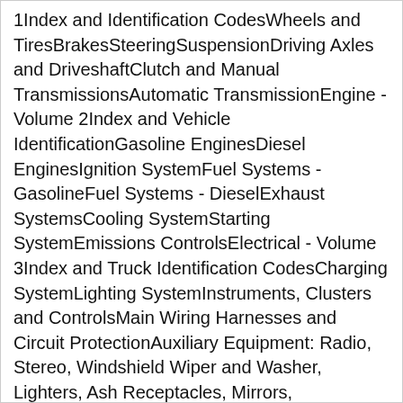1Index and Identification CodesWheels and TiresBrakesSteeringSuspensionDriving Axles and DriveshaftClutch and Manual TransmissionsAutomatic TransmissionEngine - Volume 2Index and Vehicle IdentificationGasoline EnginesDiesel EnginesIgnition SystemFuel Systems - GasolineFuel Systems - DieselExhaust SystemsCooling SystemStarting SystemEmissions ControlsElectrical - Volume 3Index and Truck Identification CodesCharging SystemLighting SystemInstruments, Clusters and ControlsMain Wiring Harnesses and Circuit ProtectionAuxiliary Equipment: Radio, Stereo, Windshield Wiper and Washer, Lighters, Ash Receptacles, Mirrors, Etc.Ventilating, Heating and Air ConditioningBody - Volume 4Index and IdentificationSeatsWindow Glass and MechanisimsStationary Window GlassDoors, Hood, and TailgateInterior TrimTopsBody Shell, Exterior Trim, Frame, UnderbodyPre-Delivery, Maintenance and Lubrication - Volume 5Index and IdentificationPre-Delivery Sequence